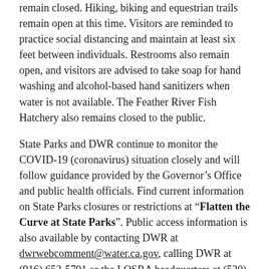remain closed. Hiking, biking and equestrian trails remain open at this time. Visitors are reminded to practice social distancing and maintain at least six feet between individuals. Restrooms also remain open, and visitors are advised to take soap for hand washing and alcohol-based hand sanitizers when water is not available. The Feather River Fish Hatchery also remains closed to the public.
State Parks and DWR continue to monitor the COVID-19 (coronavirus) situation closely and will follow guidance provided by the Governor's Office and public health officials. Find current information on State Parks closures or restrictions at “Flatten the Curve at State Parks”. Public access information is also available by contacting DWR at dwrwebcomment@water.ca.gov, calling DWR at (916) 653-5791 or the LOSRA headquarters at (530) 538-2200.
Upper Feather River Lakes Recreational Closures
The U.S. Forest Service has closed all recreation sites,